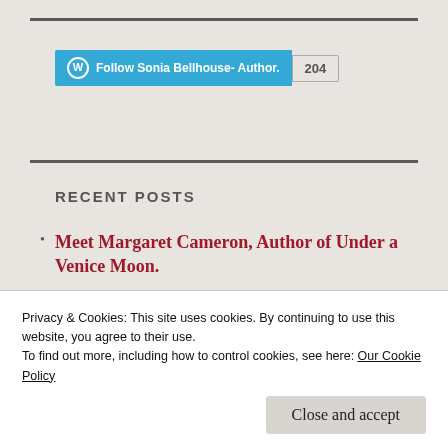[Figure (other): WordPress Follow button widget showing 'Follow Sonia Bellhouse- Author.' with follower count 204]
RECENT POSTS
Meet Margaret Cameron, Author of Under a Venice Moon.
What Did I Read in July 2022?
Privacy & Cookies: This site uses cookies. By continuing to use this website, you agree to their use.
To find out more, including how to control cookies, see here: Our Cookie Policy